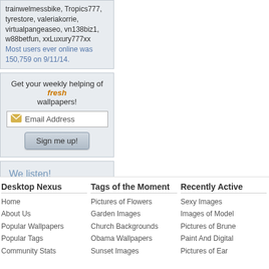trainwelmessbike, Tropics777, tyrestore, valeriakorrie, virtualpangeaseo, vn138biz1, w88betfun, xxLuxury777xx
Most users ever online was 150,759 on 9/11/14.
Get your weekly helping of fresh wallpapers!
Email Address
Sign me up!
[Figure (illustration): Feedback box with text 'We listen! Drop us a line with your thoughts, comments, or feedback!' and a black and white illustration of a person using a megaphone]
[Figure (illustration): Support This Site button with a pink/red heart icon]
Desktop Nexus
Home
About Us
Popular Wallpapers
Popular Tags
Community Stats
Tags of the Moment
Pictures of Flowers
Garden Images
Church Backgrounds
Obama Wallpapers
Sunset Images
Recently Active
Sexy Images
Images of Model
Pictures of Brune
Paint And Digital
Pictures of Ear